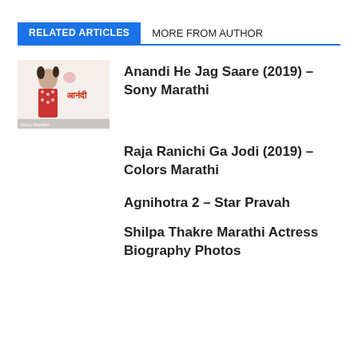RELATED ARTICLES   MORE FROM AUTHOR
[Figure (photo): Thumbnail image for Anandi He Jag Saare — a young girl in red polka dot top with Hindi text आनंदी visible]
Anandi He Jag Saare (2019) – Sony Marathi
Raja Ranichi Ga Jodi (2019) – Colors Marathi
Agnihotra 2 – Star Pravah
Shilpa Thakre Marathi Actress Biography Photos